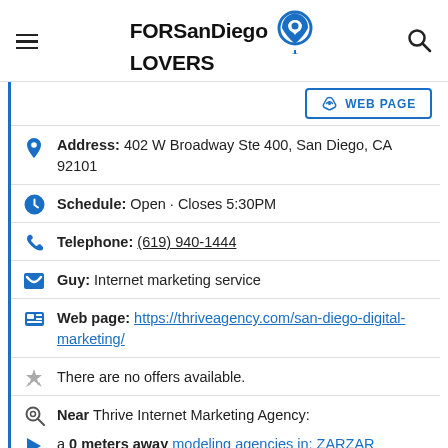FORSanDiego LOVERS
WEB PAGE
Address: 402 W Broadway Ste 400, San Diego, CA 92101
Schedule: Open · Closes 5:30PM
Telephone: (619) 940-1444
Guy: Internet marketing service
Web page: https://thriveagency.com/san-diego-digital-marketing/
There are no offers available.
Near Thrive Internet Marketing Agency:
a 0 meters away modeling agencies in: ZARZAR MODELS San Diego - ZARZAR MODELING AGENCY San